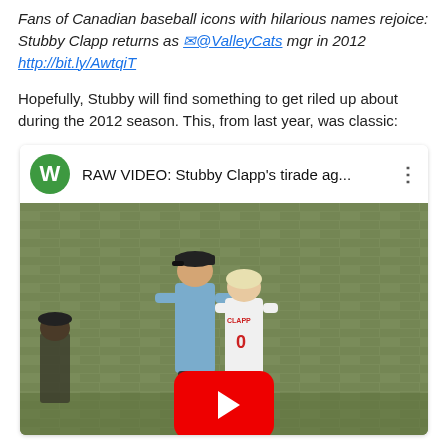Fans of Canadian baseball icons with hilarious names rejoice: Stubby Clapp returns as @ValleyCats mgr in 2012 http://bit.ly/AwtqiT
Hopefully, Stubby will find something to get riled up about during the 2012 season. This, from last year, was classic:
[Figure (screenshot): Embedded YouTube video thumbnail showing RAW VIDEO: Stubby Clapp's tirade ag... with a green W channel icon, three-dot menu, and a baseball scene with an umpire and player confronting each other, with a red YouTube play button overlay.]